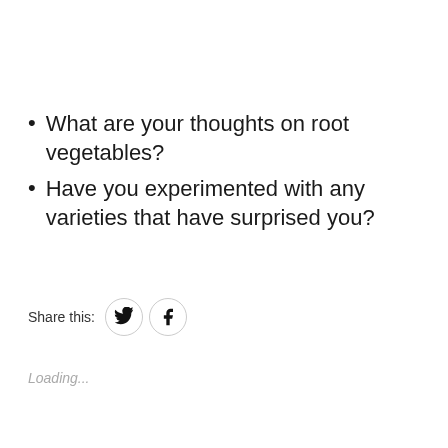What are your thoughts on root vegetables?
Have you experimented with any varieties that have surprised you?
Share this:
Loading...